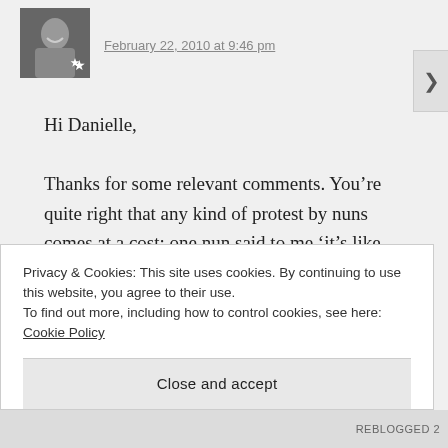[Figure (photo): Small avatar photo of a person, with a star icon overlay at bottom right]
February 22, 2010 at 9:46 pm
Hi Danielle,
Thanks for some relevant comments. You’re quite right that any kind of protest by nuns comes at a cost; one nun said to me ‘it’s like Agent Orange...’
re the age of women ordaining, in general, i wouldn’t know, but here at santi there’s a
Privacy & Cookies: This site uses cookies. By continuing to use this website, you agree to their use.
To find out more, including how to control cookies, see here: Cookie Policy
Close and accept